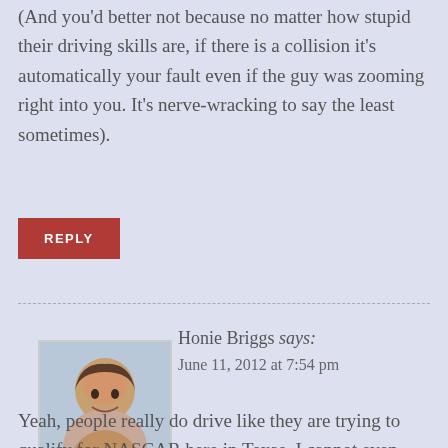(And you'd better not because no matter how stupid their driving skills are, if there is a collision it's automatically your fault even if the guy was zooming right into you. It's nerve-wracking to say the least sometimes).
REPLY
Honie Briggs says:
June 11, 2012 at 7:54 pm
[Figure (photo): Profile photo of Honie Briggs, a woman with short dark hair, smiling, wearing a patterned top]
Yeah, people really do drive like they are trying to qualify for NASCAR here in Texas. I cannot even entertain the